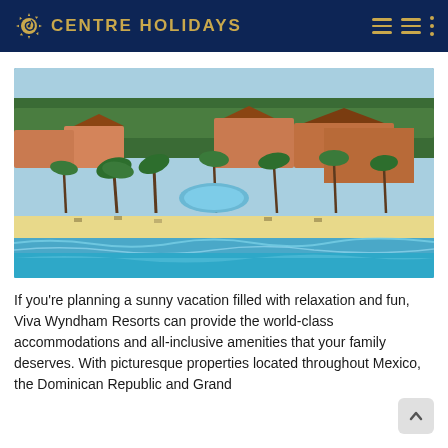CENTRE HOLIDAYS
[Figure (photo): Aerial view of a tropical beach resort with turquoise water, sandy beach, palm trees, swimming pools, and resort buildings with terracotta roofs surrounded by lush greenery.]
If you're planning a sunny vacation filled with relaxation and fun, Viva Wyndham Resorts can provide the world-class accommodations and all-inclusive amenities that your family deserves. With picturesque properties located throughout Mexico, the Dominican Republic and Grand